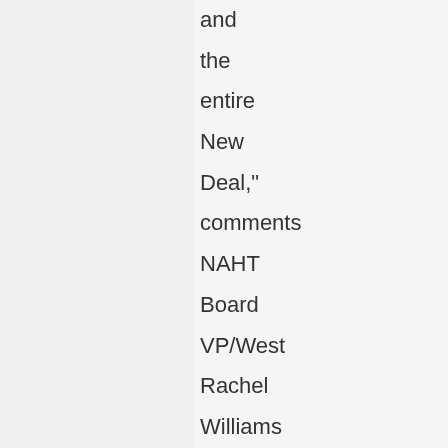and the entire New Deal," comments NAHT Board VP/West Rachel Williams of Beaumont, Texas, a caterer and military widow who lived on US b